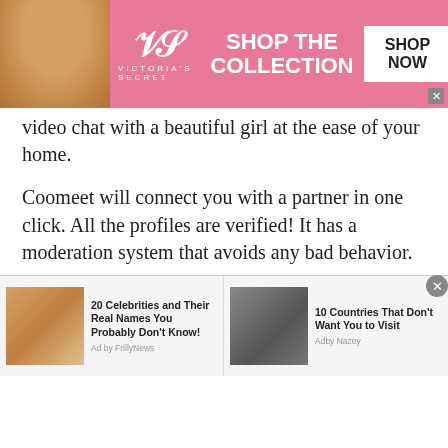[Figure (screenshot): Victoria's Secret advertisement banner with model, VS logo, 'SHOP THE COLLECTION' text and 'SHOP NOW' button on pink background]
video chat with a beautiful girl at the ease of your home.
Coomeet will connect you with a partner in one click. All the profiles are verified! It has a moderation system that avoids any bad behavior.
Just click the 'Try for Free' button and get ready to date a lovely lady. Start your video chat with a random stranger for free and without registration.
Coomeet is an awesome place to meet girls. On this
[Figure (screenshot): Bottom advertisement bar with two ad items: '20 Celebrities and Their Real Names You Probably Don't Know! Ad by FrillyNews' with female celebrity thumbnail, and '10 Countries That Don't Want You to Visit Adby Nazey' with male figure thumbnail]